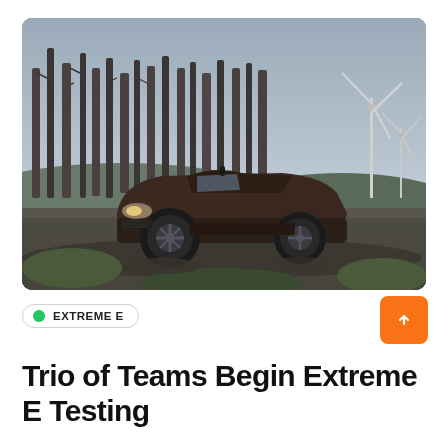[Figure (photo): An electric off-road racing SUV (Extreme E ODYSSEY 21) driving on a dirt track, with bare winter trees in the background and wind turbines visible on the right side. The vehicle is dark/brown colored and appears to be kicking up dust.]
EXTREME E
Trio of Teams Begin Extreme E Testing